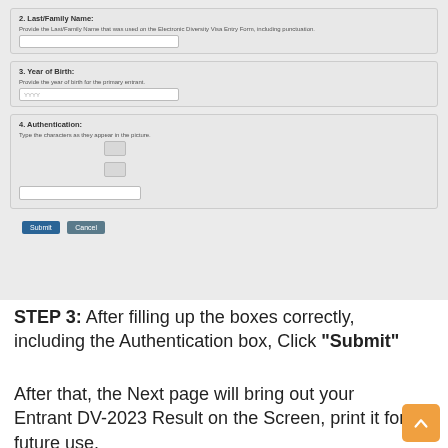[Figure (screenshot): Screenshot of an online form showing three sections: '2. Last/Family Name' with a text input and instruction to provide the Last/Family Name as used on the Electronic Diversity Visa Entry Form including punctuation; '3. Year of Birth' with a text input (YYYY) and instruction to provide the year of birth for the primary entrant; '4. Authentication' with CAPTCHA image boxes and a text input, and instruction to type the characters as they appear in the picture. Below the form sections are 'Submit' and 'Cancel' buttons.]
STEP 3: After filling up the boxes correctly, including the Authentication box, Click "Submit"
After that, the Next page will bring out your Entrant DV-2023 Result on the Screen, print it for future use.
Note: The ONLY WAY that you can find out...